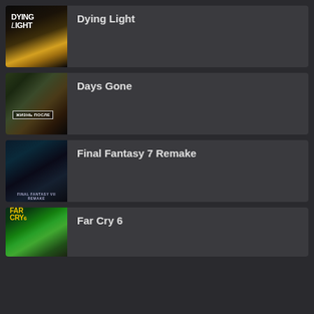Dying Light
Days Gone
Final Fantasy 7 Remake
Far Cry 6